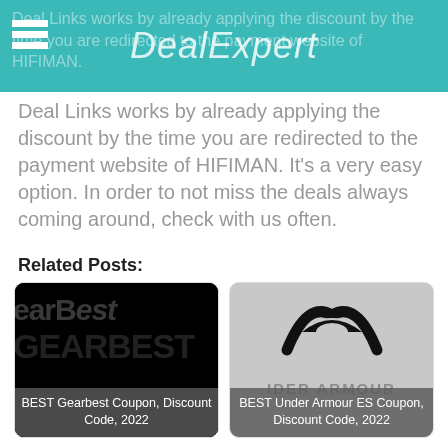DealExpert
Deal Links works by already applying the discount by the time you are redirected to the payment website of HIFIMAN. It's a very easy option. In order to not miss the deals always coming around, check with us often.
Related Posts:
[Figure (logo): BEST Gearbest Coupon, Discount Code, 2022 - black background with GearBest branding]
[Figure (logo): BEST Under Armour ES Coupon, Discount Code, 2022 - Under Armour logo on grey background]
[Figure (logo): BEST BonPrix CZ Coupon, Discount - BonPrix red logo]
[Figure (logo): BEST LifeStride Coupon, Discount - LifeStride signature logo]